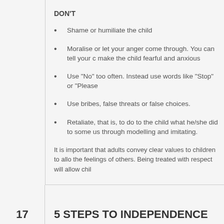DON'T
Shame or humiliate the child
Moralise or let your anger come through. You can tell your c... make the child fearful and anxious
Use “No” too often. Instead use words like “Stop” or “Please...
Use bribes, false threats or false choices.
Retaliate, that is, to do to the child what he/she did to some... us through modelling and imitating.
It is important that adults convey clear values to children to allo... the feelings of others. Being treated with respect will allow chil...
17
5 STEPS TO INDEPENDENCE